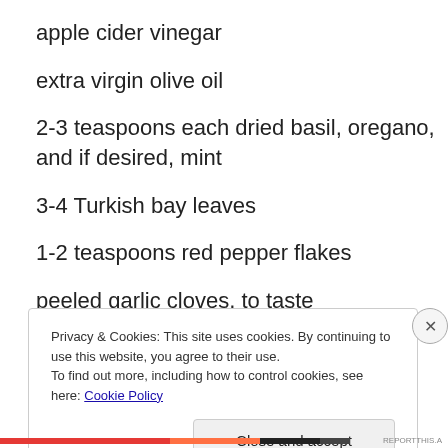apple cider vinegar
extra virgin olive oil
2-3 teaspoons each dried basil, oregano, and if desired, mint
3-4 Turkish bay leaves
1-2 teaspoons red pepper flakes
peeled garlic cloves, to taste
Privacy & Cookies: This site uses cookies. By continuing to use this website, you agree to their use.
To find out more, including how to control cookies, see here: Cookie Policy